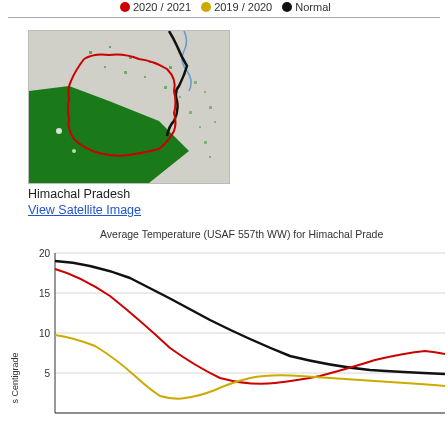[Figure (other): Legend showing 2020/2021 (red), 2019/2020 (yellow), Normal (black) line series at top of page]
[Figure (map): Satellite/vegetation map of Himachal Pradesh region showing green forested areas with red boundary outline and black country borders]
Himachal Pradesh
View Satellite Image
Average Temperature (USAF 557th WW) for Himachal Pradesh
[Figure (line-chart): Line chart showing average temperature over time for Himachal Pradesh with three series: 2020/2021 (red), 2019/2020 (yellow), Normal (black). Values start around 18-20 degrees and decline, with lines showing seasonal temperature pattern.]